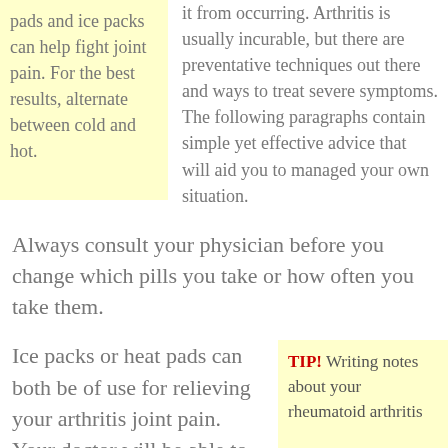pads and ice packs can help fight joint pain. For the best results, alternate between cold and hot.
it from occurring. Arthritis is usually incurable, but there are preventative techniques out there and ways to treat severe symptoms. The following paragraphs contain simple yet effective advice that will aid you to managed your own situation.
Always consult your physician before you change which pills you take or how often you take them.
Ice packs or heat pads can both be of use for relieving your arthritis joint pain. Your doctor will be able to tell you how to best
TIP! Writing notes about your rheumatoid arthritis